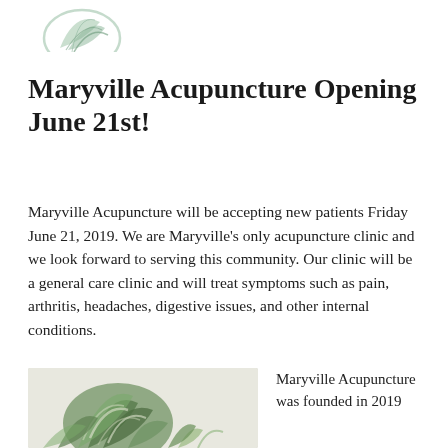[Figure (logo): Maryville Acupuncture logo — green leaf/plant illustration, partially cropped at top]
Maryville Acupuncture Opening June 21st!
Maryville Acupuncture will be accepting new patients Friday June 21, 2019. We are Maryville's only acupuncture clinic and we look forward to serving this community. Our clinic will be a general care clinic and will treat symptoms such as pain, arthritis, headaches, digestive issues, and other internal conditions.
[Figure (photo): Photograph of green succulent/houseplant with silvery-white striped leaves against a light background]
Maryville Acupuncture was founded in 2019